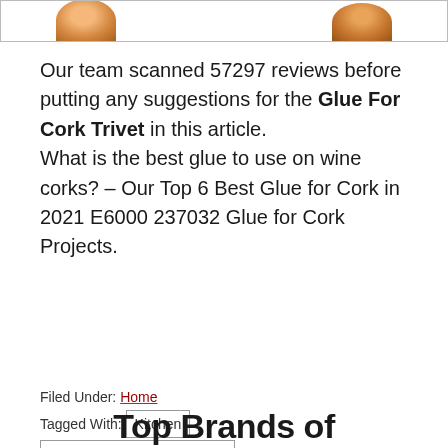[Figure (photo): Partial top view of cork trivets or cork-based round objects, cropped at the bottom of an image frame with a thin border. Two orange/brown circular cork items visible.]
Our team scanned 57297 reviews before putting any suggestions for the Glue For Cork Trivet in this article.
What is the best glue to use on wine corks? – Our Top 6 Best Glue for Cork in 2021 E6000 237032 Glue for Cork Projects.
Filed Under: Home
Tagged With: Kitchen , Tools & Home Improvement
Top Brands of